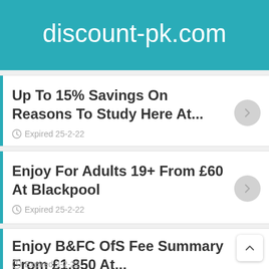discount-pk.com
Up To 15% Savings On Reasons To Study Here At...
Expired 25-2-22
Enjoy For Adults 19+ From £60 At Blackpool
Expired 25-2-22
Enjoy B&FC OfS Fee Summary From £1,850 At...
Expired 3-2-22